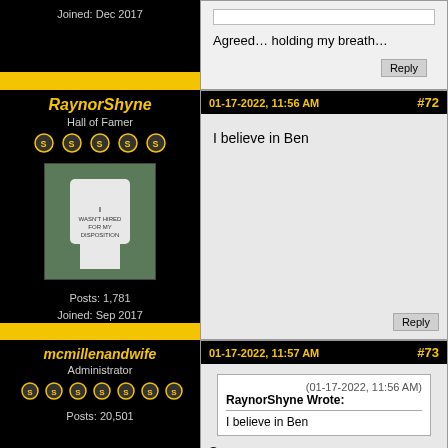Joined: Dec 2017
Agreed… holding my breath…
RaynorShyne
Hall of Famer
Posts: 1,781
Joined: Sep 2017
01-17-2022, 11:56 AM  #72
I believe in Ben
mcmillenandwife
Administrator
Posts: 20,501
01-17-2022, 11:57 AM  #73
(01-17-2022, 11:56 AM)
RaynorShyne Wrote:
I believe in Ben
Same.